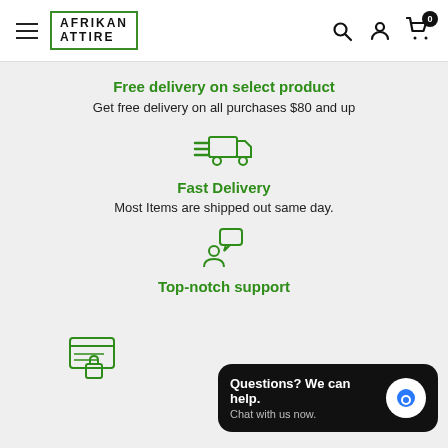AFRIKAN ATTIRE - navigation header with search, account, and cart icons
Free delivery on select product
Get free delivery on all purchases $80 and up
[Figure (illustration): Green delivery truck icon with speed lines]
Fast Delivery
Most Items are shipped out same day.
[Figure (illustration): Green person with speech bubble / support icon]
Top-notch support
[Figure (illustration): Green secure payment / card with lock icon (partially visible)]
[Figure (screenshot): Chat widget overlay: 'Questions? We can help. Chat with us now.' with blue chat bubble icon on dark background]